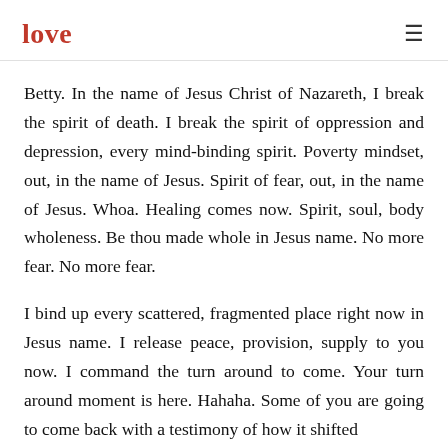love
Betty. In the name of Jesus Christ of Nazareth, I break the spirit of death. I break the spirit of oppression and depression, every mind-binding spirit. Poverty mindset, out, in the name of Jesus. Spirit of fear, out, in the name of Jesus. Whoa. Healing comes now. Spirit, soul, body wholeness. Be thou made whole in Jesus name. No more fear. No more fear.
I bind up every scattered, fragmented place right now in Jesus name. I release peace, provision, supply to you now. I command the turn around to come. Your turn around moment is here. Hahaha. Some of you are going to come back with a testimony of how it shifted